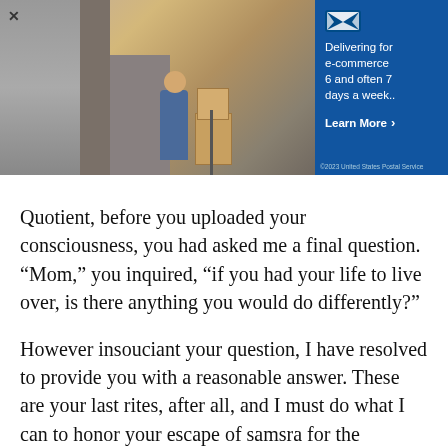[Figure (photo): USPS advertisement banner showing a mail carrier delivering packages with a hand truck. On the right side, a blue panel with the USPS eagle logo and text: 'Delivering for e-commerce 6 and often 7 days a week.. Learn More >']
Quotient, before you uploaded your consciousness, you had asked me a final question. “Mom,” you inquired, “if you had your life to live over, is there anything you would do differently?”
However insouciant your question, I have resolved to provide you with a reasonable answer. These are your last rites, after all, and I must do what I can to honor your escape of samsra for the subsequent achievement of